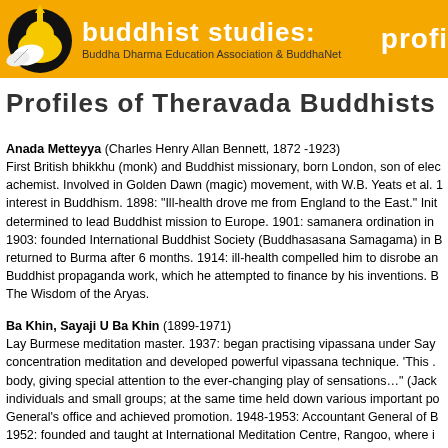buddhist studies: | Buddha Dharma Education Association & BuddhaNet | profi
Profiles of Theravada Buddhists
Anada Metteyya (Charles Henry Allan Bennett, 1872 -1923)
First British bhikkhu (monk) and Buddhist missionary, born London, son of electrician/chemist. Involved in Golden Dawn (magic) movement, with W.B. Yeats et al. 1890: interest in Buddhism. 1898: "Ill-health drove me from England to the East." Initially determined to lead Buddhist mission to Europe. 1901: samanera ordination in Burma. 1903: founded International Buddhist Society (Buddhasasana Samagama) in Burma; returned to Burma after 6 months. 1914: ill-health compelled him to disrobe and pursue Buddhist propaganda work, which he attempted to finance by his inventions. Books: The Wisdom of the Aryas.
Ba Khin, Sayaji U Ba Khin (1899-1971)
Lay Burmese meditation master. 1937: began practising vipassana under Sayagyi concentration meditation and developed powerful vipassana technique. 'This … body, giving special attention to the ever-changing play of sensations…' (Jack) individuals and small groups; at the same time held down various important po General's office and achieved promotion. 1948-1953: Accountant General of B 1952: founded and taught at International Meditation Centre, Rangoo, where i basis. After retirement (1953), was active as a meditation teacher, developed h several governments department. Married young and raised 6 children. His sty rather than theoretical understanding, is taught elsewhere in the world by his